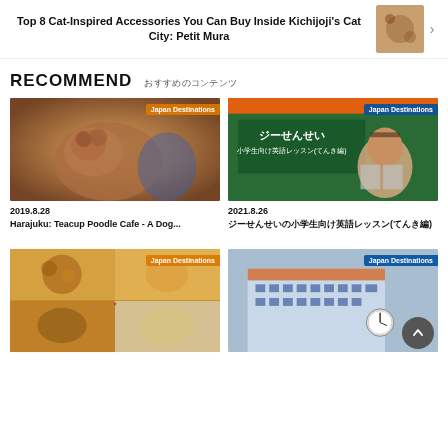Top 8 Cat-Inspired Accessories You Can Buy Inside Kichijoji's Cat City: Petit Mura
RECOMMEND おすすめのコンテンツ
[Figure (photo): Teacup poodle dog photo]
2019.8.28
Harajuku: Teacup Poodle Cafe - A Dog...
[Figure (photo): Japanese English lesson classroom scene with text ジーせんせい 小学生向け英語レッスン(てんき編)]
2021.8.26
ジーせんせいの小学生向け英語レッスン(てんき編)
[Figure (photo): Japanese food collage photo]
[Figure (photo): Building exterior with clock photo]